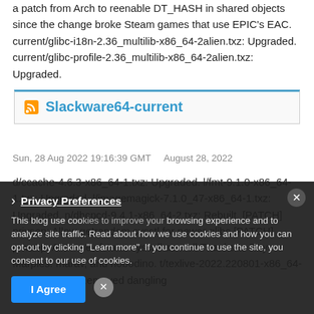a patch from Arch to reenable DT_HASH in shared objects since the change broke Steam games that use EPIC's EAC. current/glibc-i18n-2.36_multilib-x86_64-2alien.txz: Upgraded. current/glibc-profile-2.36_multilib-x86_64-2alien.txz: Upgraded.
Slackware64-current
Sun, 28 Aug 2022 19:16:39 GMT   August 28, 2022
d/ccache-4.6.3-x86_64-1.txz: Upgraded. l/fmt-9.1.0-x86_64-1.txz: Upgraded. l/imagemagick-7.1.0_47-x86_64-1.txz: Upgraded. n/dhcpcd-9.4.1-x86_64-2.txz: Rebuilt. [PATCH] privsep: Allow getrandom sysctl for newer glibc [PATCH] privsep: Allow newfstatat syscall as well Thanks to Roy Marples. marav, and nobodino. t/texlive-2022.220801-x86_64-2.txz: Rebuilt. Removed dangling
This blog use cookies to improve your browsing experience and to analyze site traffic. Read about how we use cookies and how you can opt-out by clicking "Learn more". If you continue to use the site, you consent to our use of cookies.